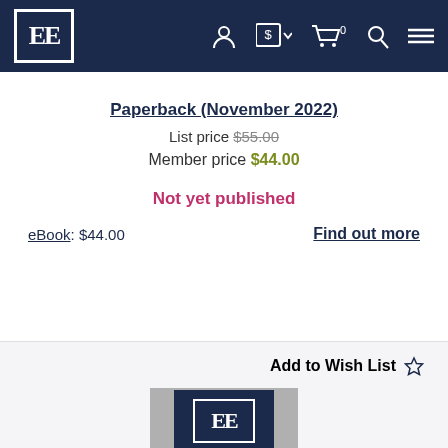[Figure (logo): Edward Elgar Publishing EE logo in white on dark navy navigation bar]
Paperback (November 2022)
List price $55.00
Member price $44.00
Not yet published
eBook: $44.00
Find out more
Add to Wish List ☆
[Figure (logo): Edward Elgar Publishing EE logo with 'Elgar' text on dark navy background, with grey border]